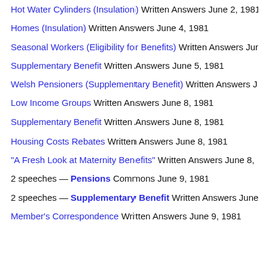Hot Water Cylinders (Insulation) Written Answers June 2, 1981
Homes (Insulation) Written Answers June 4, 1981
Seasonal Workers (Eligibility for Benefits) Written Answers Ju…
Supplementary Benefit Written Answers June 5, 1981
Welsh Pensioners (Supplementary Benefit) Written Answers J…
Low Income Groups Written Answers June 8, 1981
Supplementary Benefit Written Answers June 8, 1981
Housing Costs Rebates Written Answers June 8, 1981
"A Fresh Look at Maternity Benefits" Written Answers June 8,…
2 speeches — Pensions Commons June 9, 1981
2 speeches — Supplementary Benefit Written Answers June…
Member's Correspondence Written Answers June 9, 1981